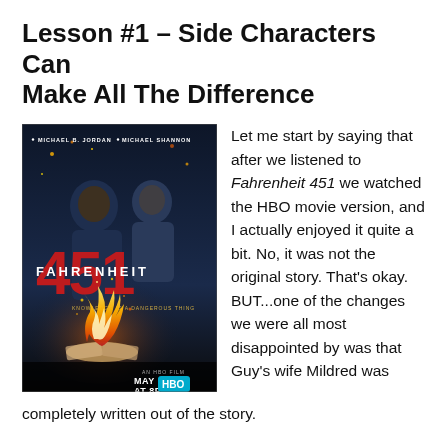Lesson #1 – Side Characters Can Make All The Difference
[Figure (photo): Movie poster for Fahrenheit 451 HBO film featuring Michael B. Jordan and Michael Shannon, with large red 451 text and a burning book. Text: 'MICHAEL B. JORDAN', 'MICHAEL SHANNON', 'FAHRENHEIT 451', 'KNOWLEDGE IS A DANGEROUS THING', 'AN HBO FILM', 'MAY 19 AT 8PM', 'HBO']
Let me start by saying that after we listened to Fahrenheit 451 we watched the HBO movie version, and I actually enjoyed it quite a bit. No, it was not the original story. That's okay. BUT...one of the changes we were all most disappointed by was that Guy's wife Mildred was completely written out of the story.